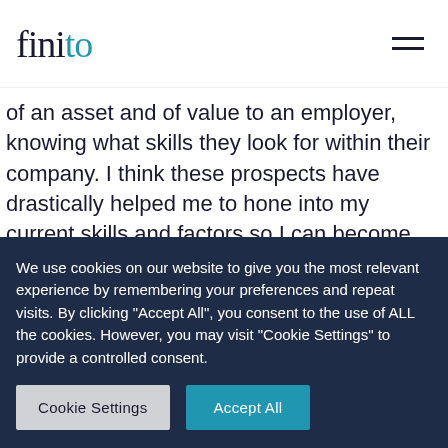finito
of an asset and of value to an employer, knowing what skills they look for within their company. I think these prospects have drastically helped me to hone into my current skills and factors so I can become more appealing applicant as well–all of which I firmly believe would have not as easily understood and know about on my own.

Coming from a background where finance has been difficult, I am very thankful for the monetary grant provided to me, it
We use cookies on our website to give you the most relevant experience by remembering your preferences and repeat visits. By clicking "Accept All", you consent to the use of ALL the cookies. However, you may visit "Cookie Settings" to provide a controlled consent.